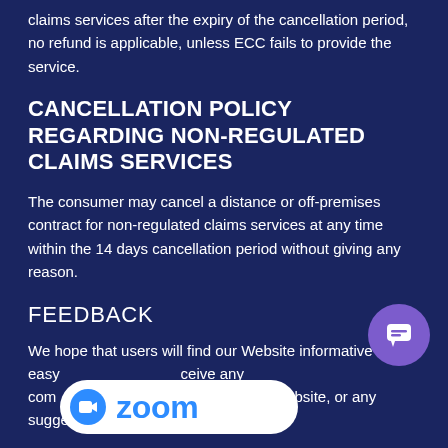claims services after the expiry of the cancellation period, no refund is applicable, unless ECC fails to provide the service.
CANCELLATION POLICY REGARDING NON-REGULATED CLAIMS SERVICES
The consumer may cancel a distance or off-premises contract for non-regulated claims services at any time within the 14 days cancellation period without giving any reason.
FEEDBACK
We hope that users will find our Website informative and easy to use. If you would like to receive any comments or feedback concerning the Website, or any suggestions as to how it could be
[Figure (logo): Zoom logo pill with blue camera icon and 'zoom' text in blue on white rounded rectangle background]
[Figure (other): Purple circular chat bubble icon]